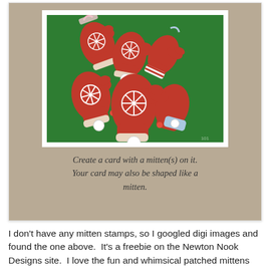[Figure (photo): Photo of red mittens with snowflake decorations and ribbons arranged on a green background, inside a white-framed card set on a tan/beige card background. Below the photo, italic script text reads: Create a card with a mitten(s) on it. Your card may also be shaped like a mitten.]
I don't have any mitten stamps, so I googled digi images and found the one above.  It's a freebie on the Newton Nook Designs site.  I love the fun and whimsical patched mittens and sweet sentiment.  Paper pieced the mittens, adding some sponging around the outside edges to create depth.  Super CAS card that makes me smile ... and hopefully